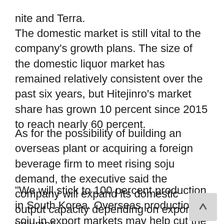nite and Terra.
The domestic market is still vital to the company's growth plans. The size of the domestic liquor market has remained relatively consistent over the past six years, but Hitejinro's market share has grown 10 percent since 2015 to reach nearly 60 percent.
As for the possibility of building an overseas plant or acquiring a foreign beverage firm to meet rising soju demand, the executive said the company will expand its domestic output capacity depending on export volumes.
"We will stick to 100 percent production in South Korea. Overseas production of soju in export markets may help cut the manufacturing costs, but